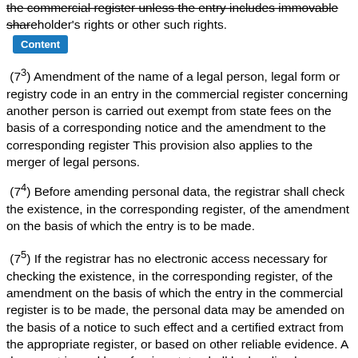the commercial register unless the entry includes immovable shareholder's rights or other such rights.
(7³) Amendment of the name of a legal person, legal form or registry code in an entry in the commercial register concerning another person is carried out exempt from state fees on the basis of a corresponding notice and the amendment to the corresponding register This provision also applies to the merger of legal persons.
(7⁴) Before amending personal data, the registrar shall check the existence, in the corresponding register, of the amendment on the basis of which the entry is to be made.
(7⁵) If the registrar has no electronic access necessary for checking the existence, in the corresponding register, of the amendment on the basis of which the entry in the commercial register is to be made, the personal data may be amended on the basis of a notice to such effect and a certified extract from the appropriate register, or based on other reliable evidence. A document issued by a foreign state shall be legalised or authenticated by a certificate replacing legalisation (apostille), unless otherwise provided by an international agreement.